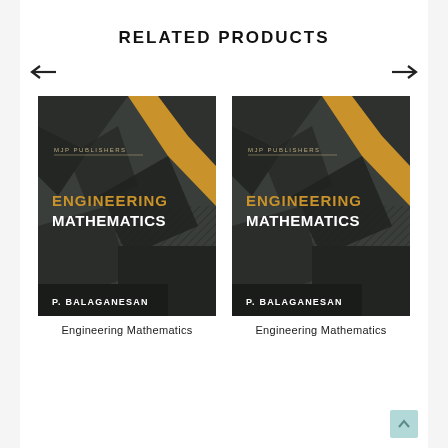RELATED PRODUCTS
[Figure (illustration): Left arrow navigation button]
[Figure (illustration): Right arrow navigation button]
[Figure (photo): Book cover: Engineering Mathematics by P. Balaganesan, MJP Publishers, dark geometric design with gold and dark grey triangles]
[Figure (photo): Book cover: Engineering Mathematics by P. Balaganesan, MJP Publishers, dark geometric design with gold and dark grey triangles]
Engineering Mathematics
Engineering Mathematics